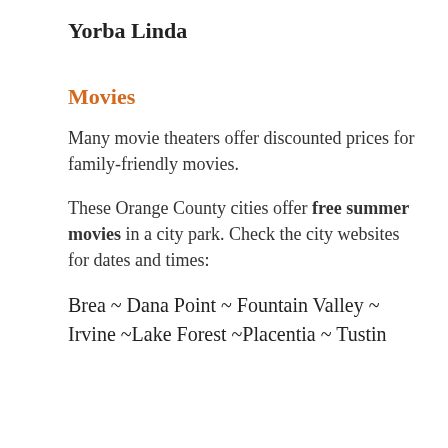Yorba Linda
Movies
Many movie theaters offer discounted prices for family-friendly movies.
These Orange County cities offer free summer movies in a city park. Check the city websites for dates and times:
Brea ~ Dana Point ~ Fountain Valley ~ Irvine ~Lake Forest ~Placentia ~ Tustin